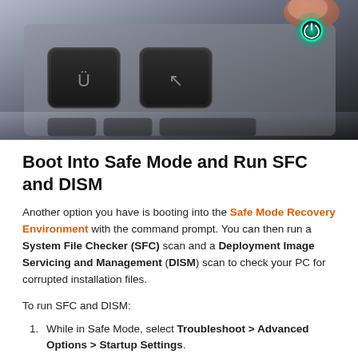[Figure (photo): Close-up photo of a dark laptop keyboard with silver keys, showing keys including a U with umlaut and a back-arrow key. In the top right corner, a glowing green/teal power button is visible, with a finger touching it. The image has a dark, moody tone.]
Boot Into Safe Mode and Run SFC and DISM
Another option you have is booting into the Safe Mode Recovery Environment with the command prompt. You can then run a System File Checker (SFC) scan and a Deployment Image Servicing and Management (DISM) scan to check your PC for corrupted installation files.
To run SFC and DISM:
While in Safe Mode, select Troubleshoot > Advanced Options > Startup Settings.